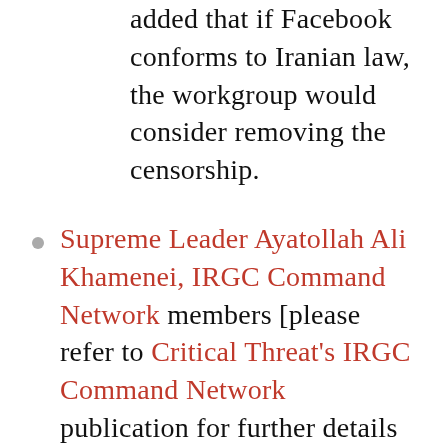added that if Facebook conforms to Iranian law, the workgroup would consider removing the censorship.
Supreme Leader Ayatollah Ali Khamenei, IRGC Command Network members [please refer to Critical Threat's IRGC Command Network publication for further details on this network's